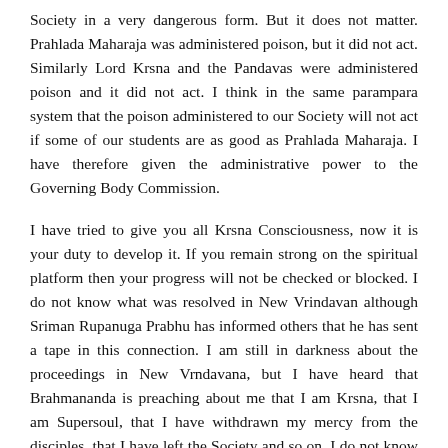Society in a very dangerous form. But it does not matter. Prahlada Maharaja was administered poison, but it did not act. Similarly Lord Krsna and the Pandavas were administered poison and it did not act. I think in the same parampara system that the poison administered to our Society will not act if some of our students are as good as Prahlada Maharaja. I have therefore given the administrative power to the Governing Body Commission.
I have tried to give you all Krsna Consciousness, now it is your duty to develop it. If you remain strong on the spiritual platform then your progress will not be checked or blocked. I do not know what was resolved in New Vrindavan although Sriman Rupanuga Prabhu has informed others that he has sent a tape in this connection. I am still in darkness about the proceedings in New Vrndavana, but I have heard that Brahmananda is preaching about me that I am Krsna, that I am Supersoul, that I have withdrawn my mercy from the disciples, that I have left the Society and so on. I do not know how far they are correct, but I have